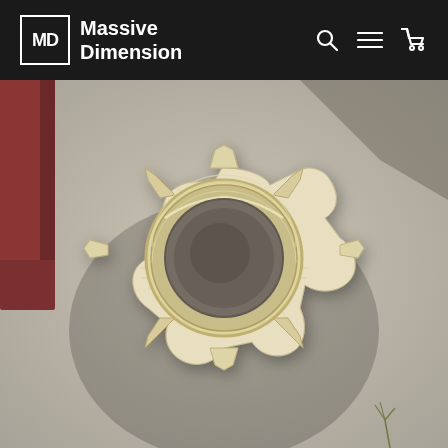MD Massive Dimension
[Figure (photo): Aerial/overhead view of a large 3D printed object resembling a star or octagonal hub shape with a large circular hole in the center. The object is cream/translucent white/yellowish color with layered print lines visible, placed on a concrete surface outdoors near a dark red metal structure.]